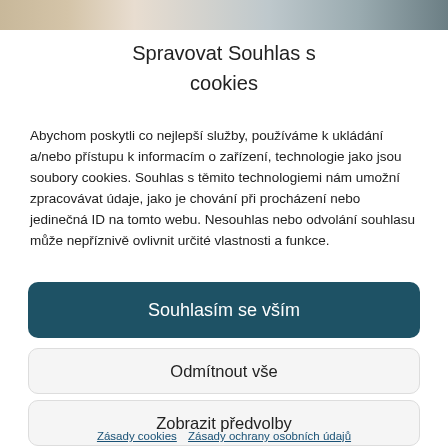[Figure (photo): Partial top image showing blurred figures, cropped at top of dialog]
Spravovat Souhlas s cookies
Abychom poskytli co nejlepší služby, používáme k ukládání a/nebo přístupu k informacím o zařízení, technologie jako jsou soubory cookies. Souhlas s těmito technologiemi nám umožní zpracovávat údaje, jako je chování při procházení nebo jedinečná ID na tomto webu. Nesouhlas nebo odvolání souhlasu může nepříznivě ovlivnit určité vlastnosti a funkce.
Souhlasím se vším
Odmítnout vše
Zobrazit předvolby
Zásady cookies  Zásady ochrany osobních údajů